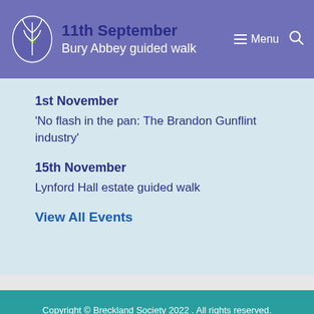11th September
Bury Abbey guided walk
1st November
‘No flash in the pan: The Brandon Gunflint industry’
15th November
Lynford Hall estate guided walk
View All Events
Copyright © Breckland Society 2022 . All rights reserved.